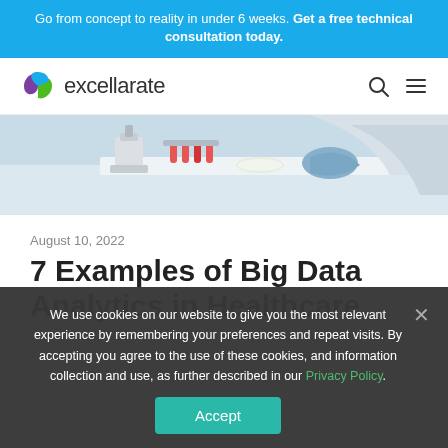Go from concept to reality in under 6 weeks. Get a free technical consultation today.
[Figure (logo): Excellarate logo with green and purple circular icon and text 'excellarate']
[Figure (photo): Laboratory scene showing scientist in white coat working with test tubes and microscope]
August 10, 2022
7 Examples of Big Data Analytics in Healthcare
We use cookies on our website to give you the most relevant experience by remembering your preferences and repeat visits. By accepting you agree to the use of these cookies, and information collection and use, as further described in our Privacy Policy.